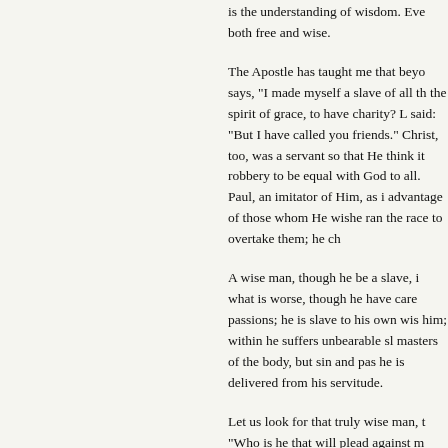is the understanding of wisdom. Eve both free and wise.
The Apostle has taught me that beyo says, "I made myself a slave of all th the spirit of grace, to have charity? L said: "But I have called you friends." Christ, too, was a servant so that He think it robbery to be equal with God to all. Paul, an imitator of Him, as i advantage of those whom He wishe ran the race to overtake them; he ch
A wise man, though he be a slave, i what is worse, though he have care passions; he is slave to his own wis him; within he suffers unbearable sl masters of the body, but sin and pas he is delivered from his servitude.
Let us look for that truly wise man, t "Who is he that will plead against m